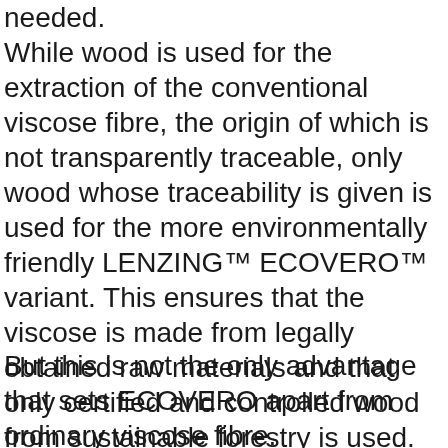needed. While wood is used for the extraction of the conventional viscose fibre, the origin of which is not transparently traceable, only wood whose traceability is given is used for the more environmentally friendly LENZING™ ECOVERO™ variant. This ensures that the viscose is made from legally obtained raw materials and that only certified and controlled wood from sustainable forestry is used.
But this is not the only advantage that sets ECOVERO apart from ordinary viscose fibre.